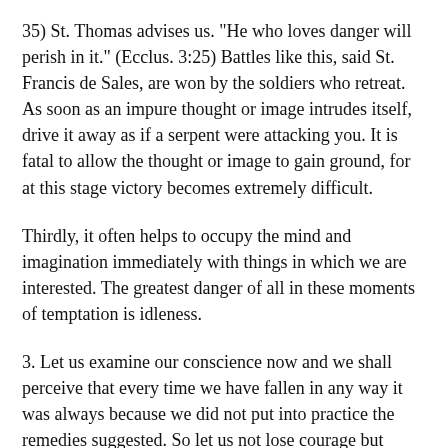35) St. Thomas advises us. "He who loves danger will perish in it." (Ecclus. 3:25) Battles like this, said St. Francis de Sales, are won by the soldiers who retreat. As soon as an impure thought or image intrudes itself, drive it away as if a serpent were attacking you. It is fatal to allow the thought or image to gain ground, for at this stage victory becomes extremely difficult.
Thirdly, it often helps to occupy the mind and imagination immediately with things in which we are interested. The greatest danger of all in these moments of temptation is idleness.
3. Let us examine our conscience now and we shall perceive that every time we have fallen in any way it was always because we did not put into practice the remedies suggested. So let us not lose courage but renew our determination to employ at the first sign of danger the necessary means of defending our purity. It will be a hard